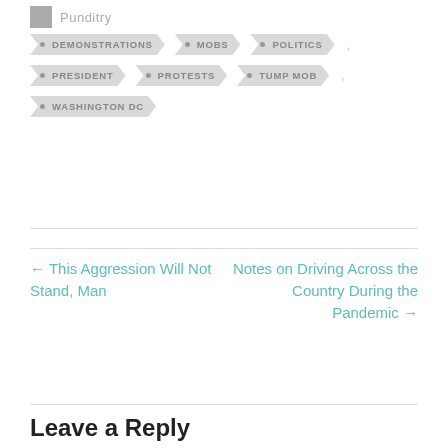Punditry
DEMONSTRATIONS
MOBS
POLITICS
PRESIDENT
PROTESTS
TUMP MOB
WASHINGTON DC
← This Aggression Will Not Stand, Man
Notes on Driving Across the Country During the Pandemic →
Leave a Reply